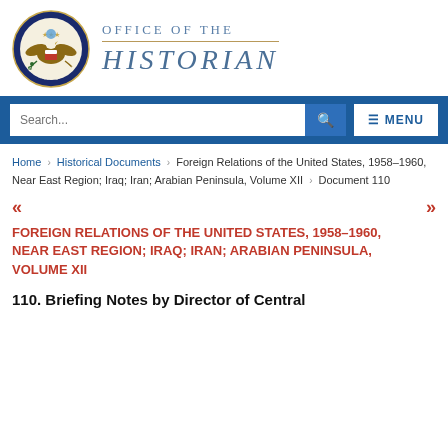[Figure (logo): U.S. Department of State seal alongside 'Office of the Historian' text logo]
Search... [search button] MENU
Home › Historical Documents › Foreign Relations of the United States, 1958–1960, Near East Region; Iraq; Iran; Arabian Peninsula, Volume XII › Document 110
FOREIGN RELATIONS OF THE UNITED STATES, 1958–1960, NEAR EAST REGION; IRAQ; IRAN; ARABIAN PENINSULA, VOLUME XII
110. Briefing Notes by Director of Central